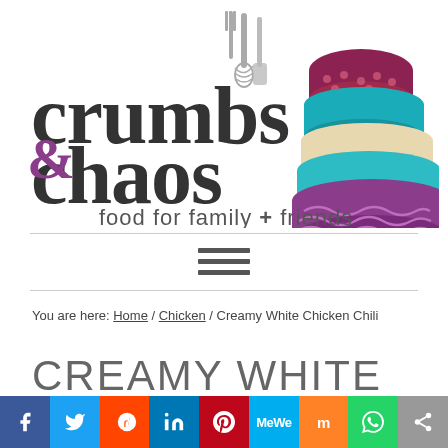[Figure (logo): Crumbs & Chaos logo with text 'food for family + friends' and colorful stacked bowls illustration]
You are here: Home / Chicken / Creamy White Chicken Chili
CREAMY WHITE CHICKEN CHILI
[Figure (infographic): Social sharing bar with icons: Facebook, Twitter, Reddit, LinkedIn, Pinterest, MeWe, Mix, WhatsApp, Share]